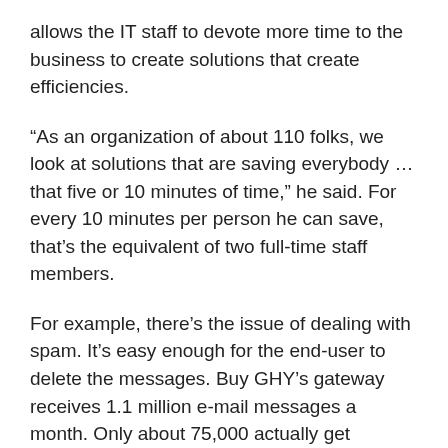allows the IT staff to devote more time to the business to create solutions that create efficiencies.
“As an organization of about 110 folks, we look at solutions that are saving everybody … that five or 10 minutes of time,” he said. For every 10 minutes per person he can save, that’s the equivalent of two full-time staff members.
For example, there’s the issue of dealing with spam. It’s easy enough for the end-user to delete the messages. Buy GHY’s gateway receives 1.1 million e-mail messages a month. Only about 75,000 actually get delivered to the users. At five seconds per e-mail to delete, blocking just north of one million spam messages in a month saves the equivalent of nine and a half full-time bodies.